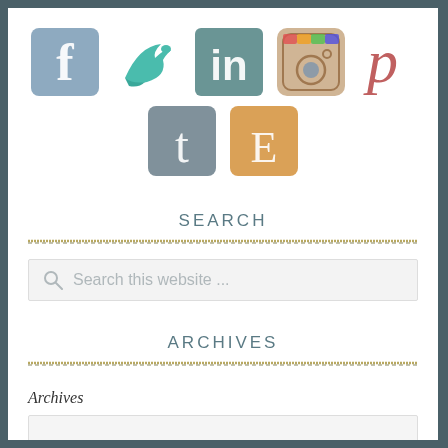[Figure (illustration): Watercolor-style social media icons in two rows: top row has Facebook (f), Twitter (bird), LinkedIn (in), Instagram (camera), Pinterest (p); second row has Tumblr (t), Etsy (E)]
SEARCH
Search this website ...
ARCHIVES
Archives